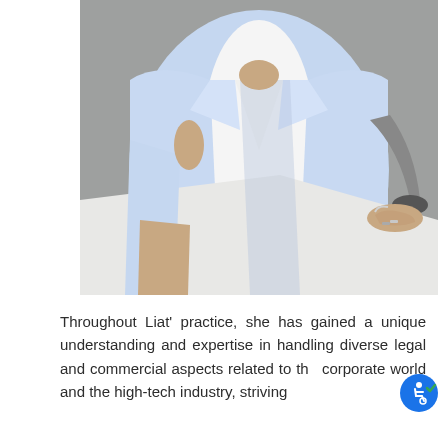[Figure (photo): A woman in a light blue blazer over a white top, seated in a modern office chair, photographed from torso down, hands resting near the chair arm.]
Throughout Liat' practice, she has gained a unique understanding and expertise in handling diverse legal and commercial aspects related to the corporate world and the high-tech industry, striving